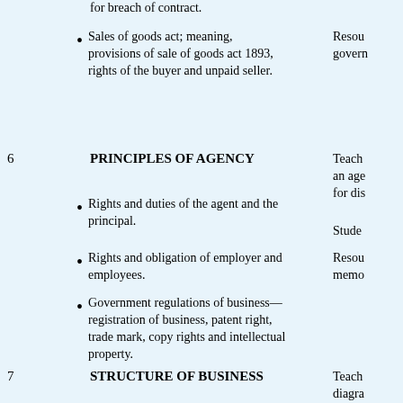for breach of contract.
Sales of goods act; meaning, provisions of sale of goods act 1893, rights of the buyer and unpaid seller.
Resou govern
6   PRINCIPLES OF AGENCY
Teach an age for dis
Rights and duties of the agent and the principal.
Stude
Rights and obligation of employer and employees.
Resou memo
Government regulations of business—registration of business, patent right, trade mark, copy rights and intellectual property.
7   STRUCTURE OF BUSINESS
Teach diagra